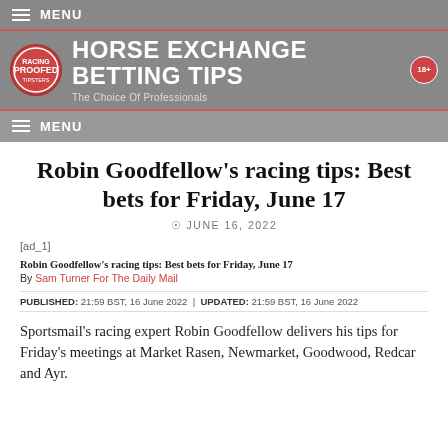≡ MENU
[Figure (logo): Horse Exchange Betting Tips logo with Proofed Racing Tipsters circular badge and site title 'HORSE EXCHANGE BETTING TIPS — The Choice Of Professionals' on grey background with 18+ badge]
≡ MENU
Robin Goodfellow's racing tips: Best bets for Friday, June 17
⊙ JUNE 16, 2022
[ad_1]
Robin Goodfellow's racing tips: Best bets for Friday, June 17
By Sam Turner For The Daily Mail
PUBLISHED: 21:59 BST, 16 June 2022 | UPDATED: 21:59 BST, 16 June 2022
Sportsmail's racing expert Robin Goodfellow delivers his tips for Friday's meetings at Market Rasen, Newmarket, Goodwood, Redcar and Ayr.